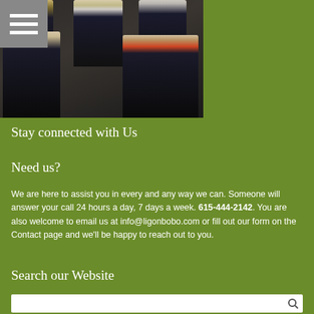[Figure (photo): Group photo of several people in formal business attire, appears to be government or organizational officials posing together]
Stay connected with Us
Need us?
We are here to assist you in every and any way we can. Someone will answer your call 24 hours a day, 7 days a week. 615-444-2142. You are also welcome to email us at info@ligonbobo.com or fill out our form on the Contact page and we'll be happy to reach out to you.
Search our Website